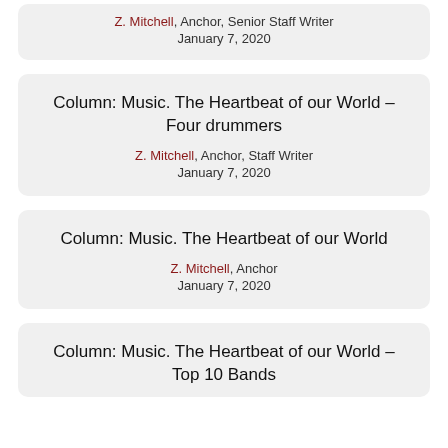Z. Mitchell, Anchor, Senior Staff Writer
January 7, 2020
Column: Music. The Heartbeat of our World – Four drummers
Z. Mitchell, Anchor, Staff Writer
January 7, 2020
Column: Music. The Heartbeat of our World
Z. Mitchell, Anchor
January 7, 2020
Column: Music. The Heartbeat of our World – Top 10 Bands